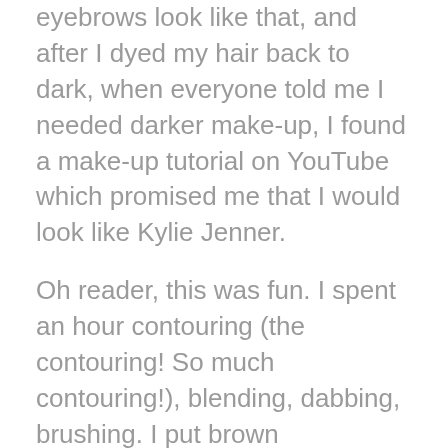eyebrows look like that, and after I dyed my hair back to dark, when everyone told me I needed darker make-up, I found a make-up tutorial on YouTube which promised me that I would look like Kylie Jenner.
Oh reader, this was fun. I spent an hour contouring (the contouring! So much contouring!), blending, dabbing, brushing. I put brown eyeshadow under my cheekbones (one must make do with what one has), and pale above, then blended furiously so I didn't look like I had been rolling around in a muddy field.
I lightly sketched in my eyebrows so they were perfectly arched, with actual sides (that was the weird bit with the over-plucking – the sides were the only bits that never grew back at all).